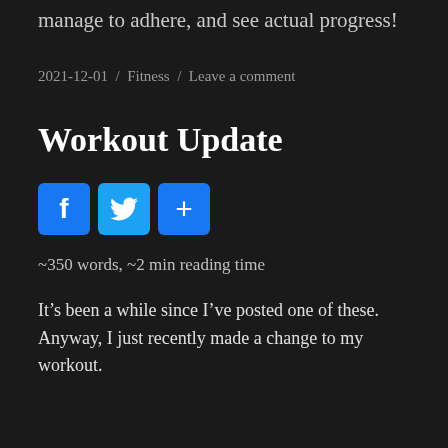manage to adhere, and see actual progress!
2021-12-01 / Fitness / Leave a comment
Workout Update
[Figure (other): Social share buttons: Facebook (blue), Twitter (light blue), and a share/plus button (blue)]
~350 words, ~2 min reading time
It’s been a while since I’ve posted one of these. Anyway, I just recently made a change to my workout.